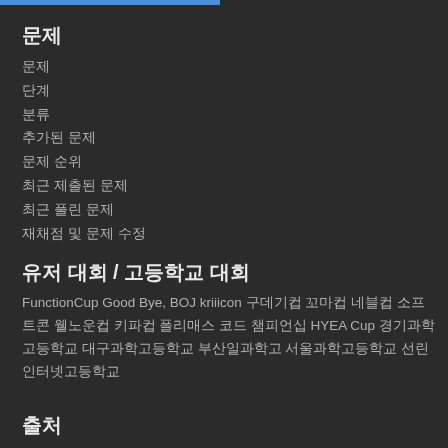문제
문제
단계
분류
추가된 문제
문제 순위
최근 제출된 문제
최근 풀린 문제
재채점 및 문제 수정
유저 대회 / 고등학교 대회
FunctionCup Good Bye, BOJ kriiicon 구데기컵 꼬마컵 네블컵 소프트콘 웰노운컵 키파컵 폴리매스 코드 챔피언십 HYEA Cup 경기과학고등학교 대구과학고등학교 부산일과학고 서울과학고등학교 선린인터넷고등학교
출처
ICPC
ICPC Korea Regional
Olympiad